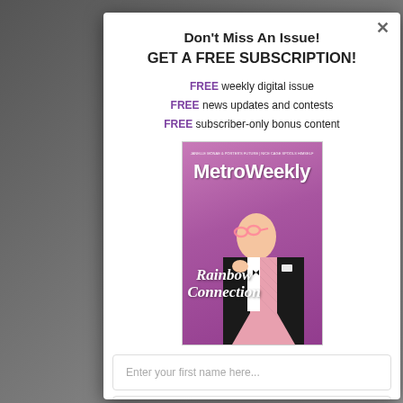Don't Miss An Issue! GET A FREE SUBSCRIPTION!
FREE weekly digital issue
FREE news updates and contests
FREE subscriber-only bonus content
[Figure (photo): Metro Weekly magazine cover featuring a man in a pink sequined tuxedo jacket holding pink glasses, with text 'Rainbow Connection' overlaid on purple background]
Enter your first name here...
Enter your email here...